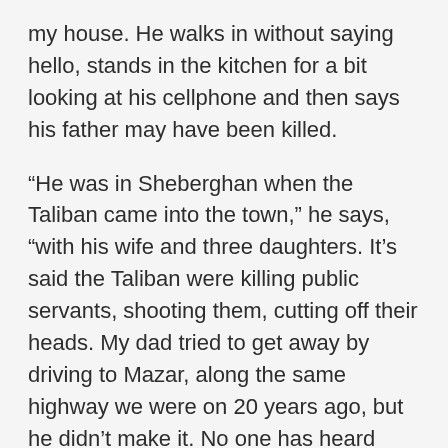my house. He walks in without saying hello, stands in the kitchen for a bit looking at his cellphone and then says his father may have been killed.
“He was in Sheberghan when the Taliban came into the town,” he says, “with his wife and three daughters. It’s said the Taliban were killing public servants, shooting them, cutting off their heads. My dad tried to get away by driving to Mazar, along the same highway we were on 20 years ago, but he didn’t make it. No one has heard from him in over 24 hours.”
In all the time I’ve known Najib, I’ve never seen him scared. I’ve never seen him weak or vulnerable. But he’s all these things now. He’s sitting at my table, hunched over his phone. He starts to cry, just a bit. I’ve never seen him cry.
“I just hope they didn’t torture him,” he says, defeated